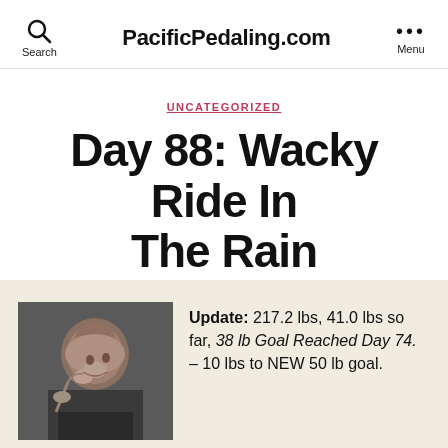PacificPedaling.com
UNCATEGORIZED
Day 88: Wacky Ride In The Rain
By Paul  May 2, 2007  No Comments
[Figure (photo): Close-up photo of a man gesturing with his hand near his face]
Update: 217.2 lbs, 41.0 lbs so far, 38 lb Goal Reached Day 74. – 10 lbs to NEW 50 lb goal.